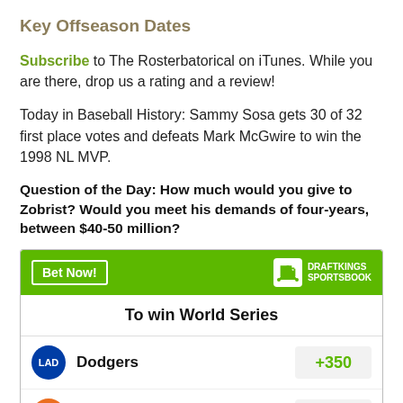Key Offseason Dates
Subscribe to The Rosterbatorical on iTunes. While you are there, drop us a rating and a review!
Today in Baseball History: Sammy Sosa gets 30 of 32 first place votes and defeats Mark McGwire to win the 1998 NL MVP.
Question of the Day: How much would you give to Zobrist? Would you meet his demands of four-years, between $40-50 million?
| Team | To win World Series | Odds |
| --- | --- | --- |
| Dodgers |  | +350 |
| Astros |  | +425 |